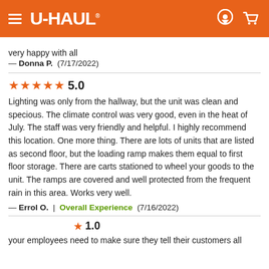[Figure (logo): U-Haul orange navigation header with hamburger menu, U-Haul logo, location pin icon, and cart icon]
very happy with all
— Donna P.  (7/17/2022)
★★★★★ 5.0
Lighting was only from the hallway, but the unit was clean and specious. The climate control was very good, even in the heat of July. The staff was very friendly and helpful. I highly recommend this location. One more thing. There are lots of units that are listed as second floor, but the loading ramp makes them equal to first floor storage. There are carts stationed to wheel your goods to the unit. The ramps are covered and well protected from the frequent rain in this area. Works very well.
— Errol O.  |  Overall Experience  (7/16/2022)
Volver arriba
1.0
your employees need to make sure they tell their customers all